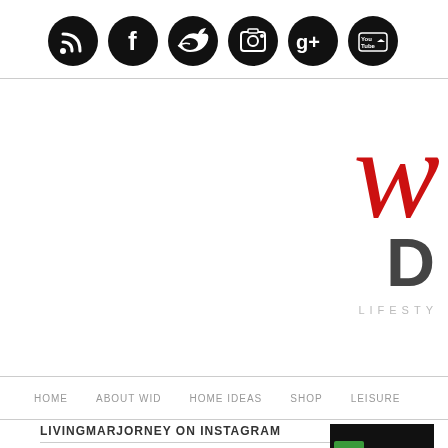[Figure (other): Social media icon bar with RSS, Facebook, Twitter, Camera/Instagram, Google+, YouTube circular black icons]
[Figure (logo): Partial website logo showing a red cursive letter and dark bold letter D, with LIFESTY text below]
HOME   ABOUT WID   HOME IDEAS   SHOP   LEISURE
LIVINGMARJORNEY ON INSTAGRAM
[Figure (screenshot): Partial Instagram photo, light grey/blue tones]
[Figure (logo): Greenwich logo partial, black background with green g icon]
SATURDAY   #